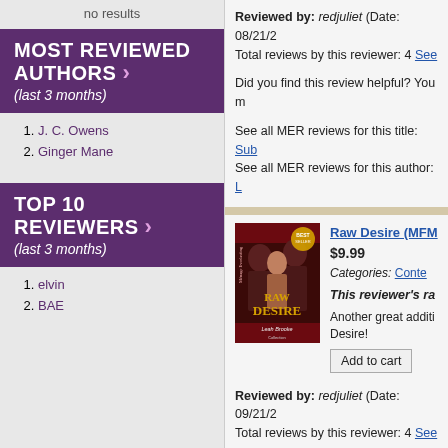no results
MOST REVIEWED AUTHORS > (last 3 months)
1. J. C. Owens
2. Ginger Mane
TOP 10 REVIEWERS > (last 3 months)
1. elvin
2. BAE
Reviewed by: redjuliet (Date: 08/21/... Total reviews by this reviewer: 4 See ...
Did you find this review helpful? You m...
See all MER reviews for this title: Sub...
See all MER reviews for this author: L...
Raw Desire (MFM... $9.99 Categories: Conte... This reviewer's ra... Another great additi... Desire!
[Figure (photo): Book cover for 'Raw Desire' by Leah Brooke, Menage Everlasting series, showing two men and a woman embracing, with gold award seal]
Add to cart
Reviewed by: redjuliet (Date: 09/21/... Total reviews by this reviewer: 4 See ...
Did you find this review helpful? You m...